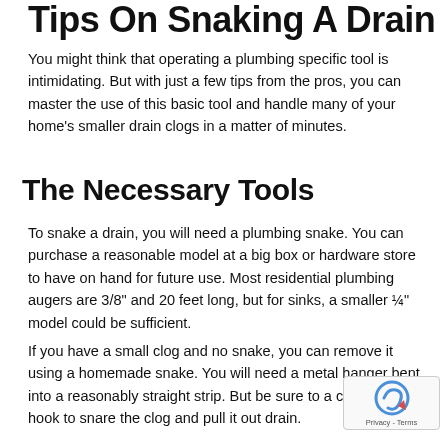Tips On Snaking A Drain
You might think that operating a plumbing specific tool is intimidating. But with just a few tips from the pros, you can master the use of this basic tool and handle many of your home's smaller drain clogs in a matter of minutes.
The Necessary Tools
To snake a drain, you will need a plumbing snake. You can purchase a reasonable model at a big box or hardware store to have on hand for future use. Most residential plumbing augers are 3/8" and 20 feet long, but for sinks, a smaller ¼" model could be sufficient.
If you have a small clog and no snake, you can remove it using a homemade snake. You will need a metal hanger bent into a reasonably straight strip. But be sure to a compressed hook to snare the clog and pull it out drain.